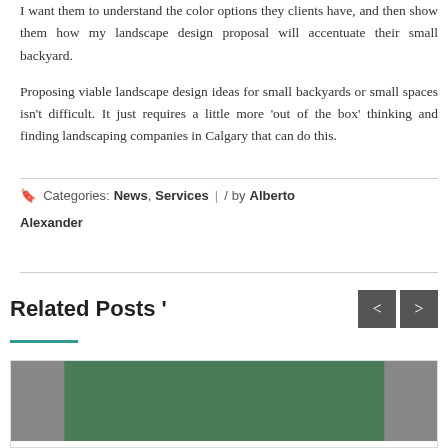I want them to understand the color options they clients have, and then show them how my landscape design proposal will accentuate their small backyard.
Proposing viable landscape design ideas for small backyards or small spaces isn't difficult. It just requires a little more 'out of the box' thinking and finding landscaping companies in Calgary that can do this.
Categories: News, Services | / by Alberto Alexander
Related Posts '